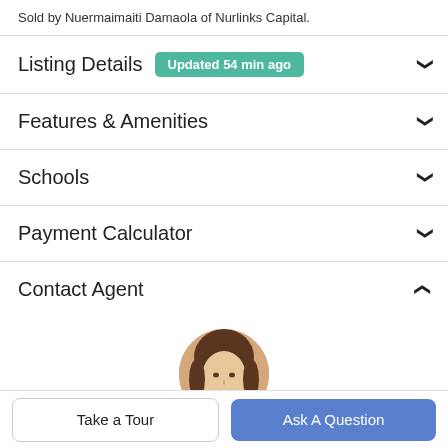Sold by Nuermaimaiti Damaola of Nurlinks Capital.
Listing Details  Updated 54 min ago
Features & Amenities
Schools
Payment Calculator
Contact Agent
[Figure (photo): Circular headshot of a female real estate agent with brown hair, partially visible at the bottom of the page.]
Take a Tour
Ask A Question